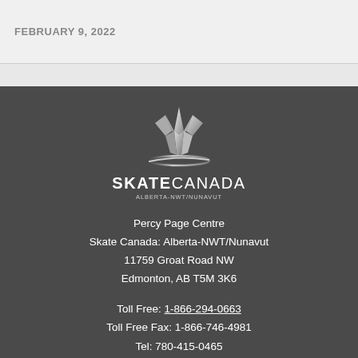FEBRUARY 9, 2022
[Figure (logo): Skate Canada Alberta-NWT/Nunavut logo with silver maple leaf crystal icon and text SKATECANADA ALBERTA-NWT/NUNAVUT]
Percy Page Centre
Skate Canada: Alberta-NWT/Nunavut
11759 Groat Road NW
Edmonton, AB T5M 3K6
Toll Free: 1-866-294-0663
Toll Free Fax: 1-866-746-4981
Tel: 780-415-0465